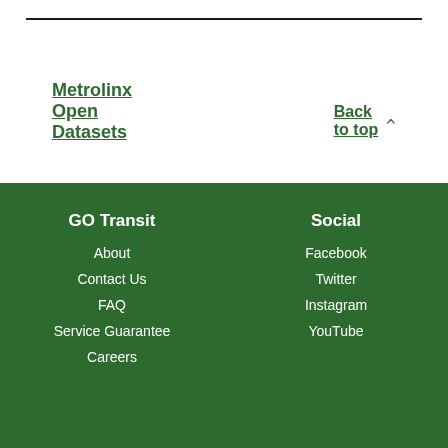Metrolinx Open Datasets
Back to top
GO Transit | About | Contact Us | FAQ | Service Guarantee | Careers | Social | Facebook | Twitter | Instagram | YouTube